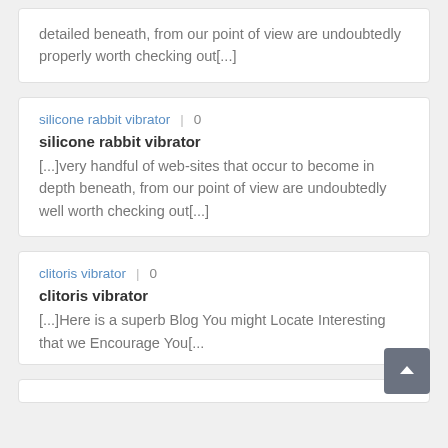detailed beneath, from our point of view are undoubtedly properly worth checking out[...]
silicone rabbit vibrator | 0
silicone rabbit vibrator
[...]very handful of web-sites that occur to become in depth beneath, from our point of view are undoubtedly well worth checking out[...]
clitoris vibrator | 0
clitoris vibrator
[...]Here is a superb Blog You might Locate Interesting that we Encourage You[...